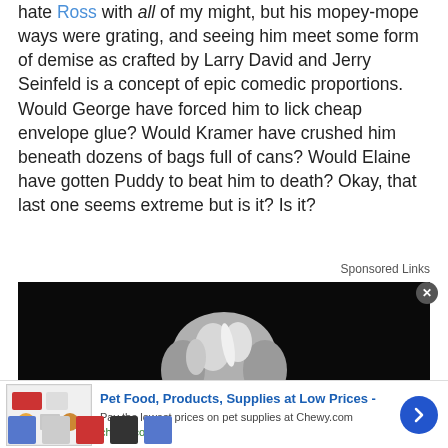hate Ross with all of my might, but his mopey-mope ways were grating, and seeing him meet some form of demise as crafted by Larry David and Jerry Seinfeld is a concept of epic comedic proportions. Would George have forced him to lick cheap envelope glue? Would Kramer have crushed him beneath dozens of bags full of cans? Would Elaine have gotten Puddy to beat him to death? Okay, that last one seems extreme but is it? Is it?
Sponsored Links
[Figure (photo): A woman with short gray/silver hair photographed against a dark black background, with only the top half of her face visible from the forehead to just below the eyes.]
Pet Food, Products, Supplies at Low Prices - Pay the lowest prices on pet supplies at Chewy.com chewy.com